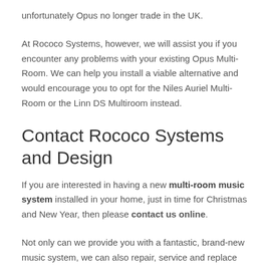unfortunately Opus no longer trade in the UK.
At Rococo Systems, however, we will assist you if you encounter any problems with your existing Opus Multi-Room. We can help you install a viable alternative and would encourage you to opt for the Niles Auriel Multi-Room or the Linn DS Multiroom instead.
Contact Rococo Systems and Design
If you are interested in having a new multi-room music system installed in your home, just in time for Christmas and New Year, then please contact us online.
Not only can we provide you with a fantastic, brand-new music system, we can also repair, service and replace any